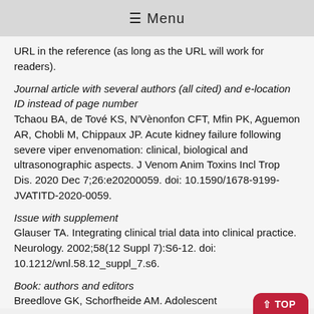☰ Menu
URL in the reference (as long as the URL will work for readers).
Journal article with several authors (all cited) and e-location ID instead of page number
Tchaou BA, de Tové KS, N'Vènonfon CFT, Mfin PK, Aguemon AR, Chobli M, Chippaux JP. Acute kidney failure following severe viper envenomation: clinical, biological and ultrasonographic aspects. J Venom Anim Toxins Incl Trop Dis. 2020 Dec 7;26:e20200059. doi: 10.1590/1678-9199-JVATITD-2020-0059.
Issue with supplement
Glauser TA. Integrating clinical trial data into clinical practice. Neurology. 2002;58(12 Suppl 7):S6-12. doi: 10.1212/wnl.58.12_suppl_7.s6.
Book: authors and editors
Breedlove GK, Schorfheide AM. Adolescent…